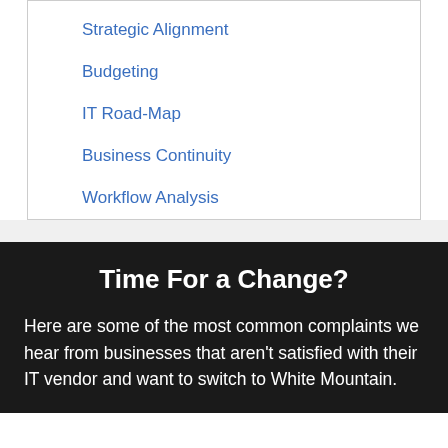Strategic Alignment
Budgeting
IT Road-Map
Business Continuity
Workflow Analysis
Time For a Change?
Here are some of the most common complaints we hear from businesses that aren't satisfied with their IT vendor and want to switch to White Mountain.